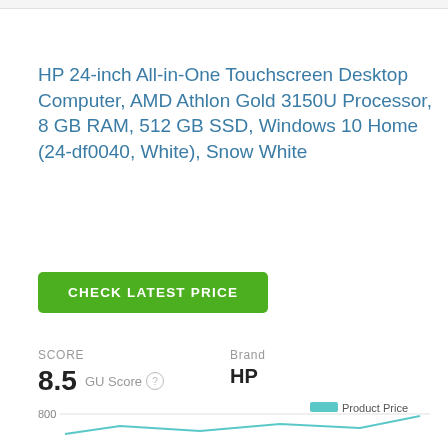HP 24-inch All-in-One Touchscreen Desktop Computer, AMD Athlon Gold 3150U Processor, 8 GB RAM, 512 GB SSD, Windows 10 Home (24-df0040, White), Snow White
CHECK LATEST PRICE
SCORE
8.5 GU Score
Brand
HP
Price History
Features
800
Product Price